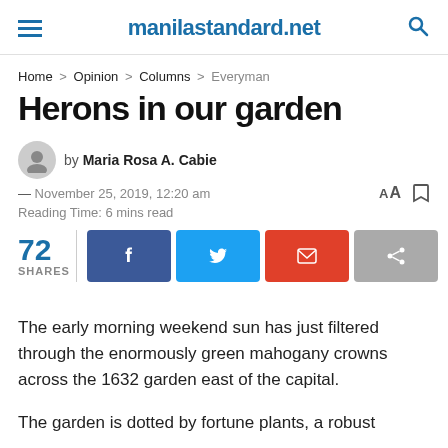manilastandard.net
Home > Opinion > Columns > Everyman
Herons in our garden
by Maria Rosa A. Cabie
— November 25, 2019, 12:20 am
Reading Time: 6 mins read
72 SHARES
The early morning weekend sun has just filtered through the enormously green mahogany crowns across the 1632 garden east of the capital.
The garden is dotted by fortune plants, a robust